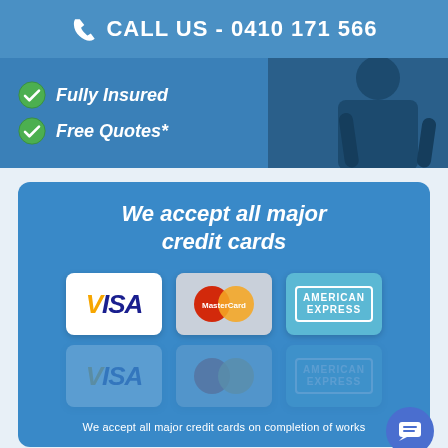CALL US - 0410 171 566
Fully Insured
Free Quotes*
[Figure (infographic): We accept all major credit cards section showing Visa, MasterCard, and American Express logos with reflections, and a note: We accept all major credit cards on completion of works]
We accept all major credit cards on completion of works